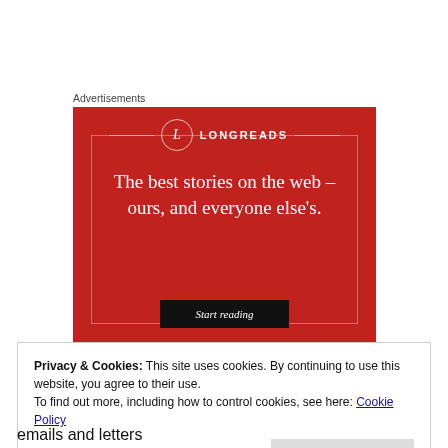Advertisements
[Figure (illustration): Longreads advertisement banner on a red background. Shows the Longreads logo (circle with L), horizontal decorative lines, and tagline: 'The best stories on the web – ours, and everyone else's.' with a 'Start reading' button.]
Privacy & Cookies: This site uses cookies. By continuing to use this website, you agree to their use.
To find out more, including how to control cookies, see here: Cookie Policy
Close and accept
emails and letters